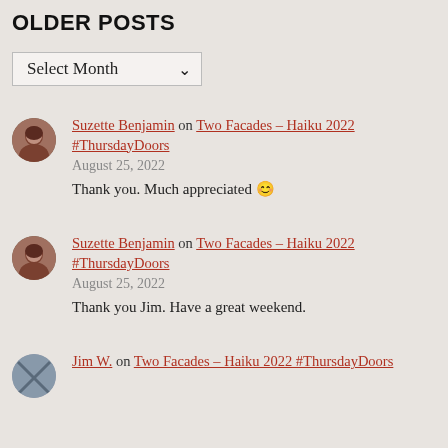OLDER POSTS
Select Month
Suzette Benjamin on Two Facades – Haiku 2022 #ThursdayDoors
August 25, 2022
Thank you. Much appreciated 😊
Suzette Benjamin on Two Facades – Haiku 2022 #ThursdayDoors
August 25, 2022
Thank you Jim. Have a great weekend.
Jim W. on Two Facades – Haiku 2022 #ThursdayDoors